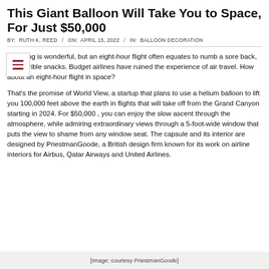This Giant Balloon Will Take You to Space, For Just $50,000
BY: RUTH K. REED / ON: APRIL 15, 2022 / IN: BALLOON DECORATION
Traveling is wonderful, but an eight-hour flight often equates to numb a sore back, and terrible snacks. Budget airlines have ruined the experience of air travel. How about an eight-hour flight in space?
That's the promise of World View, a startup that plans to use a helium balloon to lift you 100,000 feet above the earth in flights that will take off from the Grand Canyon starting in 2024. For $50,000 , you can enjoy the slow ascent through the atmosphere, while admiring extraordinary views through a 5-foot-wide window that puts the view to shame from any window seat. The capsule and its interior are designed by PriestmanGoode, a British design firm known for its work on airline interiors for Airbus, Qatar Airways and United Airlines.
[Image: courtesy PriestmanGoode]